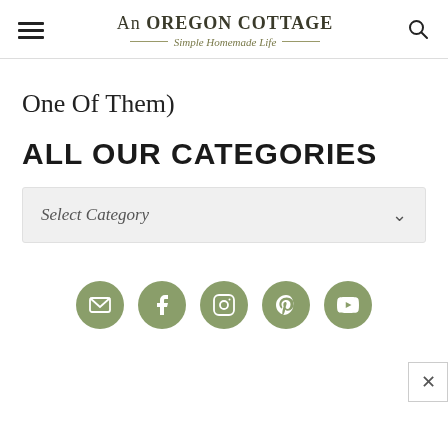An OREGON COTTAGE — Simple Homemade Life
One Of Them)
ALL OUR CATEGORIES
Select Category
[Figure (infographic): Row of five social media icon circles (email, Facebook, Instagram, Pinterest, YouTube) in sage green color]